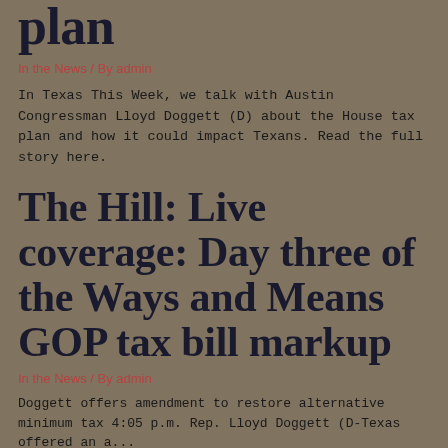plan
In the News / By admin
In Texas This Week, we talk with Austin Congressman Lloyd Doggett (D) about the House tax plan and how it could impact Texans. Read the full story here.
The Hill: Live coverage: Day three of the Ways and Means GOP tax bill markup
In the News / By admin
Doggett offers amendment to restore alternative minimum tax 4:05 p.m. Rep. Lloyd Doggett (D-Texas offered an amendment to...